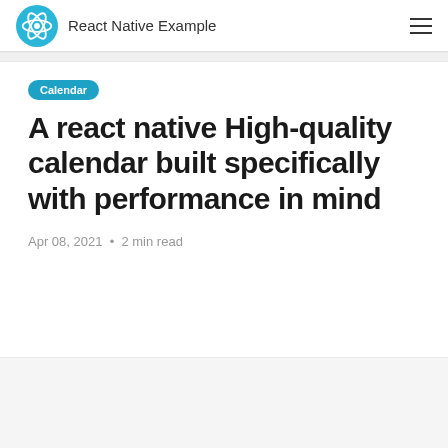React Native Example
Calendar
A react native High-quality calendar built specifically with performance in mind
Apr 08, 2021 • 2 min read